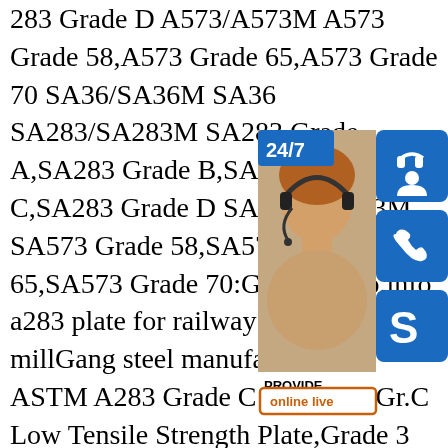283 Grade D A573/A573M A573 Grade 58,A573 Grade 65,A573 Grade 70 SA36/SA36M SA36 SA283/SA283M SA283 Grade A,SA283 Grade B,SA283 Grade C,SA283 Grade D SA573/SA573M SA573 Grade 58,SA573 Grade 65,SA573 Grade 70:GB/T700:sp.info a283 plate for railway application millGang steel manufacturer of ASTM A283 Grade C Steel 283 Gr.C Low Tensile Strength Plate,Grade 3 Hot Rolled Carbon Steel Plate. ASTM - A283 Grade C Plate Material Properties material properties are ASTM specifications confirmed on the Mill Test Report.Grade Yield sp.info China Factory Low Price Q370r Ss400 Structure Steel Plate A36/A36M A36 A283/A283M A283 Grade A,A283 Grade B,A283 Grade C,A283 Grade D A573/A573M A573 Grade 58,A573 Grade 65,A573 Grade 70 SA36/SA36M SA36 SA2
[Figure (infographic): Customer service widget overlay showing a woman with headset, 24/7 badge, headset icon button, phone icon button, Skype icon button (all blue), PROVIDE Empowering Customers text, and orange online live button]